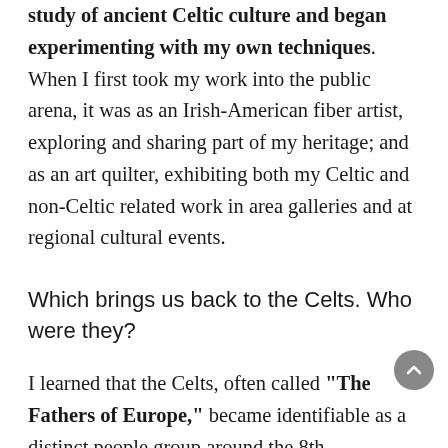study of ancient Celtic culture and began experimenting with my own techniques. When I first took my work into the public arena, it was as an Irish-American fiber artist, exploring and sharing part of my heritage; and as an art quilter, exhibiting both my Celtic and non-Celtic related work in area galleries and at regional cultural events.
Which brings us back to the Celts. Who were they?
I learned that the Celts, often called "The Fathers of Europe," became identifiable as a distinct people group around the 8th